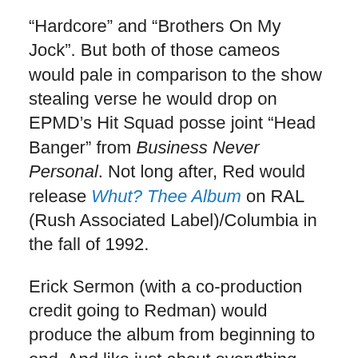“Hardcore” and “Brothers On My Jock”. But both of those cameos would pale in comparison to the show stealing verse he would drop on EPMD’s Hit Squad posse joint “Head Banger” from Business Never Personal. Not long after, Red would release Whut? Thee Album on RAL (Rush Associated Label)/Columbia in the fall of 1992.
Erick Sermon (with a co-production credit going to Redman) would produce the album from beginning to end. And like just about everything else Erick Sermon had a hand it at the time, Whut? Thee Album would go gold, earning Reggie a plaque and heaps of critical acclaim.
But acclaim and gold don’t always translate to quality music. So lets revisit Whut? Thee Album.
Psycho Ward – Whut? Thee Album opens with Redman is a real hard core distorted being Dr. Trenier’s drug lab.